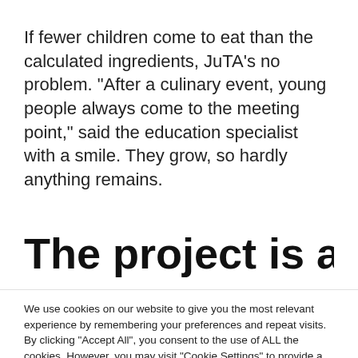If fewer children come to eat than the calculated ingredients, JuTA's no problem. “After a culinary event, young people always come to the meeting point,” said the education specialist with a smile. They grow, so hardly anything remains.
The project is also
We use cookies on our website to give you the most relevant experience by remembering your preferences and repeat visits. By clicking “Accept All”, you consent to the use of ALL the cookies. However, you may visit "Cookie Settings" to provide a controlled consent.